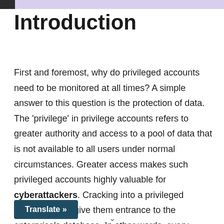Introduction
First and foremost, why do privileged accounts need to be monitored at all times? A simple answer to this question is the protection of data. The ‘privilege’ in privilege accounts refers to greater authority and access to a pool of data that is not available to all users under normal circumstances. Greater access makes such privileged accounts highly valuable for cyberattackers. Cracking into a privileged account would give them entrance to the enterprise’s database. In other words, every cybercriminal’s dream goldmine is a privileged account.